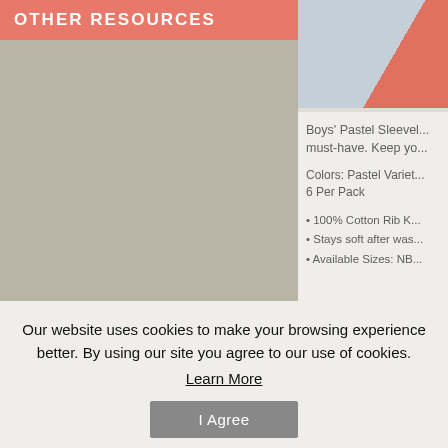OTHER RESOURCES
OUR COMPANY WEBSITE
Billiard Supply
www.billiardssupply.net
Sexy Wear Co
[Figure (photo): Product image of boys pastel sleeveless shirts, partially cropped on right side]
Boys' Pastel Sleevel... must-have. Keep yo...
Colors: Pastel Variet... 6 Per Pack
100% Cotton Rib K...
Stays soft after was...
Available Sizes: NB...
Our website uses cookies to make your browsing experience better. By using our site you agree to our use of cookies.
Learn More
I Agree